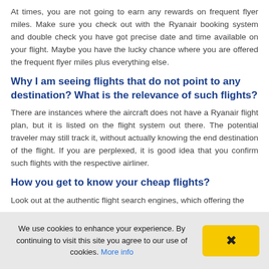At times, you are not going to earn any rewards on frequent flyer miles. Make sure you check out with the Ryanair booking system and double check you have got precise date and time available on your flight. Maybe you have the lucky chance where you are offered the frequent flyer miles plus everything else.
Why I am seeing flights that do not point to any destination? What is the relevance of such flights?
There are instances where the aircraft does not have a Ryanair flight plan, but it is listed on the flight system out there. The potential traveler may still track it, without actually knowing the end destination of the flight. If you are perplexed, it is good idea that you confirm such flights with the respective airliner.
How you get to know your cheap flights?
Look out at the authentic flight search engines, which offering the
We use cookies to enhance your experience. By continuing to visit this site you agree to our use of cookies. More info